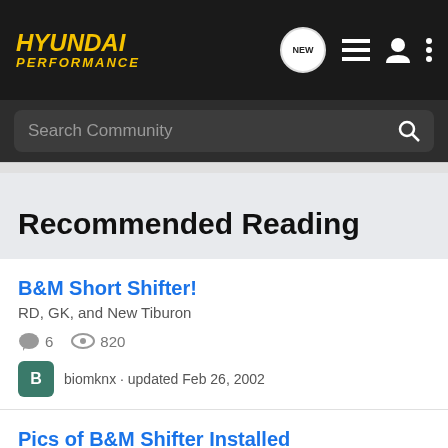HYUNDAI PERFORMANCE
Search Community
Recommended Reading
B&M Short Shifter!
RD, GK, and New Tiburon
6  820
biomknx · updated Feb 26, 2002
Pics of B&M Shifter Installed
RD, GK, and New Tiburon
12  1K